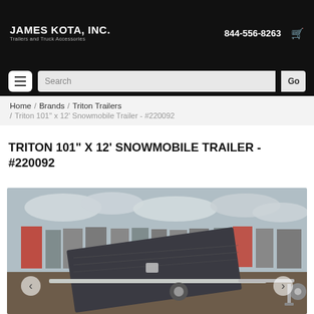JAMES KOTA, INC. Trailers and Truck Accessories | 844-556-8263
Home / Brands / Triton Trailers / Triton 101" x 12' Snowmobile Trailer - #220092
TRITON 101" X 12' SNOWMOBILE TRAILER - #220092
[Figure (photo): Photo of a Triton 101" x 12' snowmobile trailer with folded-up deck, galvanized frame, in a dealer lot with other trailers in background. Navigation arrows on left and right sides of image.]